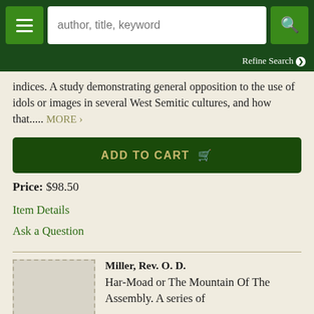[Figure (screenshot): Navigation bar with hamburger menu button, search input field with placeholder 'author, title, keyword', and green search button]
Refine Search ❯
indices. A study demonstrating general opposition to the use of idols or images in several West Semitic cultures, and how that..... MORE ›
ADD TO CART 🛒
Price: $98.50
Item Details
Ask a Question
Miller, Rev. O. D.
Har-Moad or The Mountain Of The Assembly. A series of